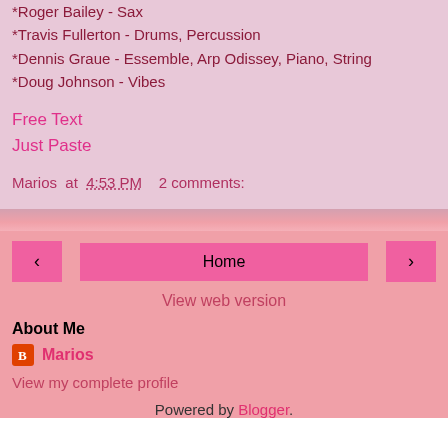*Roger Bailey - Sax
*Travis Fullerton - Drums, Percussion
*Dennis Graue - Essemble, Arp Odissey, Piano, String
*Doug Johnson - Vibes
Free Text
Just Paste
Marios at 4:53 PM   2 comments:
Home
View web version
About Me
Marios
View my complete profile
Powered by Blogger.